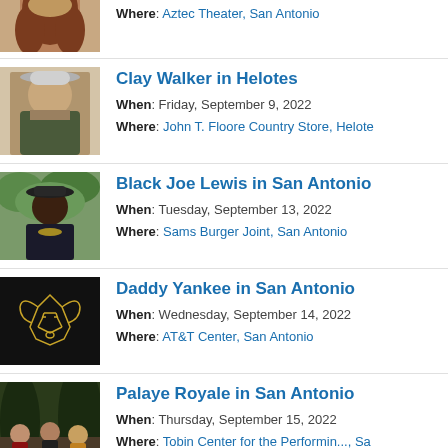Where: Aztec Theater, San Antonio
[Figure (photo): Partial photo of a person with long hair, cropped at top]
Clay Walker in Helotes
When: Friday, September 9, 2022
Where: John T. Floore Country Store, Helote
[Figure (photo): Photo of Clay Walker wearing a cowboy hat]
Black Joe Lewis in San Antonio
When: Tuesday, September 13, 2022
Where: Sams Burger Joint, San Antonio
[Figure (photo): Photo of Black Joe Lewis outdoors]
Daddy Yankee in San Antonio
When: Wednesday, September 14, 2022
Where: AT&T Center, San Antonio
[Figure (photo): Dark promotional image with gold geometric goat/ram logo]
Palaye Royale in San Antonio
When: Thursday, September 15, 2022
Where: Tobin Center for the Performin..., Sa
[Figure (photo): Photo of Palaye Royale band members sitting outdoors]